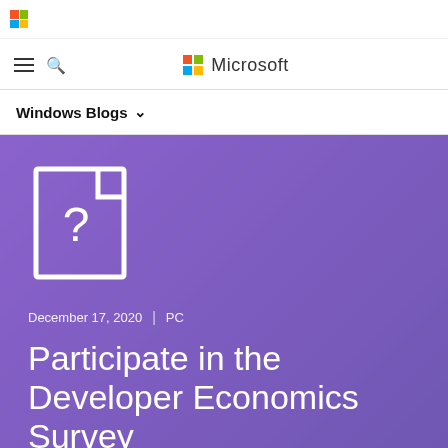Microsoft
Windows Blogs
[Figure (illustration): White document/file icon with question mark on purple background]
December 17, 2020  |  PC
Participate in the Developer Economics Survey
Windows Developer Team